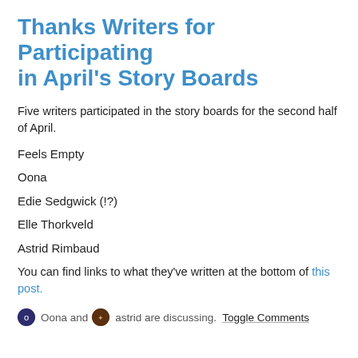Thanks Writers for Participating in April's Story Boards
Five writers participated in the story boards for the second half of April.
Feels Empty
Oona
Edie Sedgwick (!?)
Elle Thorkveld
Astrid Rimbaud
You can find links to what they've written at the bottom of this post.
Oona and astrid are discussing. Toggle Comments